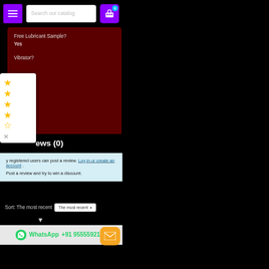Search our catalog
Free Lubricant Sample?
Yes
Vibrator?
[Figure (other): Star rating widget showing 4 filled stars and 1 half star, on a white popup panel with a close (X) button]
ews (0)
Only registered users can post a review. Log in or create an account . Post a review and try to win a discount.
Sort: The most recent  The most recent
WhatsApp +91 9555592168